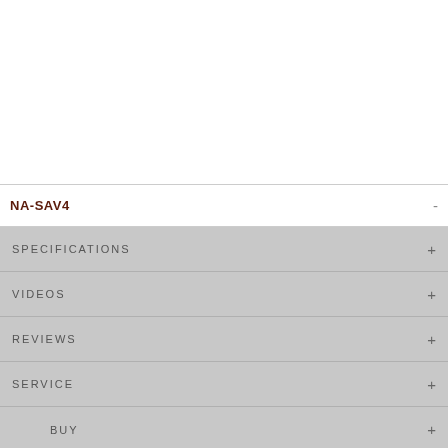[Figure (photo): White rectangular area at the top, likely product image placeholder]
NA-SAV4
SPECIFICATIONS
VIDEOS
REVIEWS
SERVICE
BUY
NEWSLETTER   LEGAL INFORMATION   ABOUT NOCTUA   CONTACT US